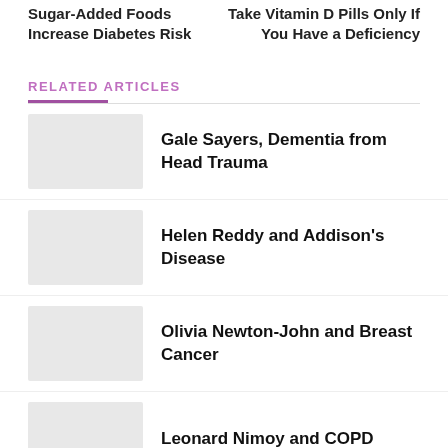Sugar-Added Foods Increase Diabetes Risk
Take Vitamin D Pills Only If You Have a Deficiency
RELATED ARTICLES
Gale Sayers, Dementia from Head Trauma
Helen Reddy and Addison's Disease
Olivia Newton-John and Breast Cancer
Leonard Nimoy and COPD